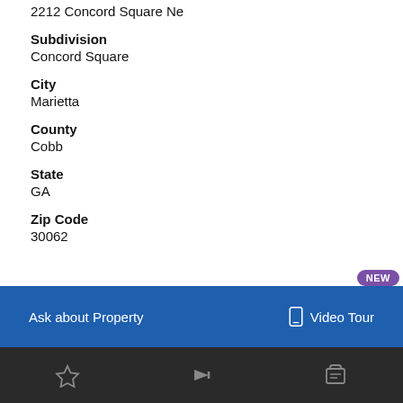2212 Concord Square Ne
Subdivision
Concord Square
City
Marietta
County
Cobb
State
GA
Zip Code
30062
NEW
Ask about Property
Video Tour